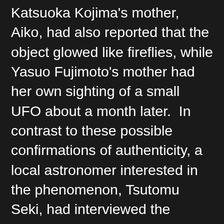Katsuoka Kojima's mother, Aiko, had also reported that the object glowed like fireflies, while Yasuo Fujimoto's mother had her own sighting of a small UFO about a month later.  In contrast to these possible confirmations of authenticity, a local astronomer interested in the phenomenon, Tsutomu Seki, had interviewed the witnesses and was impressed by them and their story, but still maintained doubts about various elements of the case.  To add to the mystery, at least two other reports of encounters with strikingly similar objects had occurred, one in 1976 about 25 miles to the west from Kera, and another as far away as Suonenjoki, Finland in 1979.  So what are we to make of all the varying details concerning these impossible objects?  If we are to believe ongoing reports, certain authorities already have extraterrestrial items in their possession, but they are strictly guarded secrets not